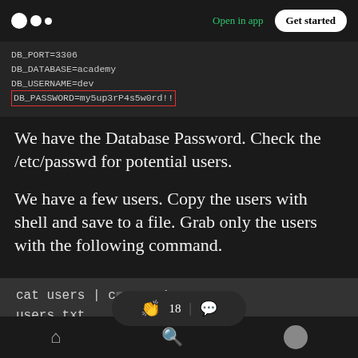Medium logo | Open in app | Get started
[Figure (screenshot): Dark terminal code block showing DB_PORT=3306, DB_DATABASE=academy, DB_USERNAME=dev, DB_PASSWORD=my5up3rP4s5w0rd!! with the password line highlighted in a red border]
We have the Database Password. Check the /etc/passwd for potential users.
We have a few users. Copy the users with shell and save to a file. Grab only the users with the following command.
[Figure (screenshot): Dark code block showing: cat users | c[...] 1 > users.txt with a floating pill overlay showing clap icon, 18, separator, and comment icon]
Home | Search | Profile